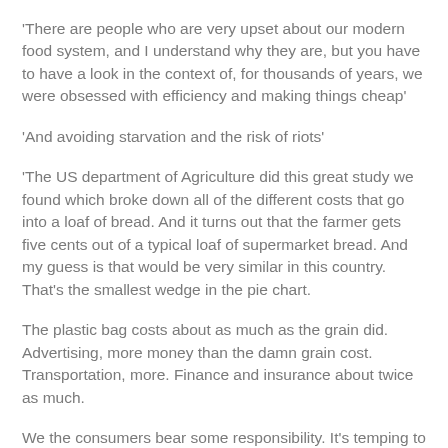'There are people who are very upset about our modern food system, and I understand why they are, but you have to have a look in the context of, for thousands of years, we were obsessed with efficiency and making things cheap'
'And avoiding starvation and the risk of riots'
'The US department of Agriculture did this great study we found which broke down all of the different costs that go into a loaf of bread. And it turns out that the farmer gets five cents out of a typical loaf of supermarket bread. And my guess is that would be very similar in this country. That's the smallest wedge in the pie chart.
The plastic bag costs about as much as the grain did. Advertising, more money than the damn grain cost. Transportation, more. Finance and insurance about twice as much.
We the consumers bear some responsibility. It's temping to point at them, but unless we're willing to pay more for it,